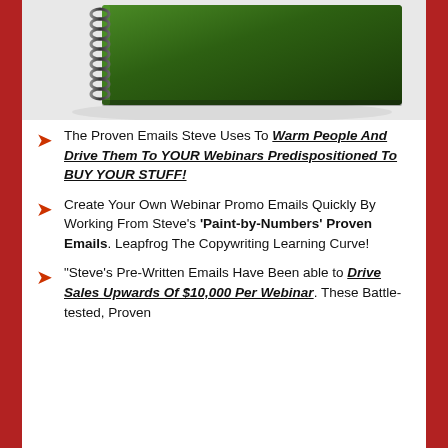[Figure (illustration): A dark green spiral-bound notebook/book angled view from above, showing the spiral binding on the left and dark green cover.]
The Proven Emails Steve Uses To Warm People And Drive Them To YOUR Webinars Predispositioned To BUY YOUR STUFF!
Create Your Own Webinar Promo Emails Quickly By Working From Steve's 'Paint-by-Numbers' Proven Emails. Leapfrog The Copywriting Learning Curve!
"Steve's Pre-Written Emails Have Been able to Drive Sales Upwards Of $10,000 Per Webinar. These Battle-tested, Proven